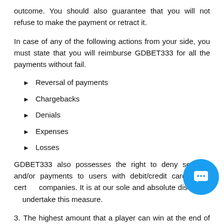outcome. You should also guarantee that you will not refuse to make the payment or retract it.
In case of any of the following actions from your side, you must state that you will reimburse GDBET333 for all the payments without fail.
Reversal of payments
Chargebacks
Denials
Expenses
Losses
GDBET333 also possesses the right to deny services and/or payments to users with debit/credit cards from certain companies. It is at our sole and absolute discretion to undertake this measure.
3. The highest amount that a player can win at the end of one round of betting is SGD 200,000.00/RM 500,000.00.